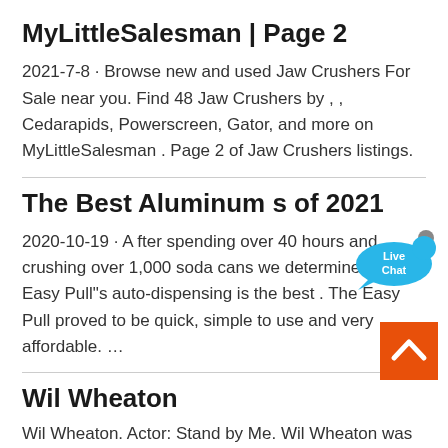MyLittleSalesman | Page 2
2021-7-8  ·  Browse new and used Jaw Crushers For Sale near you. Find 48 Jaw Crushers by , , Cedarapids, Powerscreen, Gator, and more on MyLittleSalesman . Page 2 of Jaw Crushers listings.
[Figure (illustration): Live Chat widget - blue speech bubble with 'Live Chat' text and an X close button]
The Best Aluminum s of 2021
2020-10-19  ·  A fter spending over 40 hours and crushing over 1,000 soda cans we determined that Easy Pull"s auto-dispensing is the best . The Easy Pull proved to be quick, simple to use and very affordable. …
[Figure (illustration): Orange back-to-top button with upward chevron arrow]
Wil Wheaton
Wil Wheaton. Actor: Stand by Me. Wil Wheaton was born